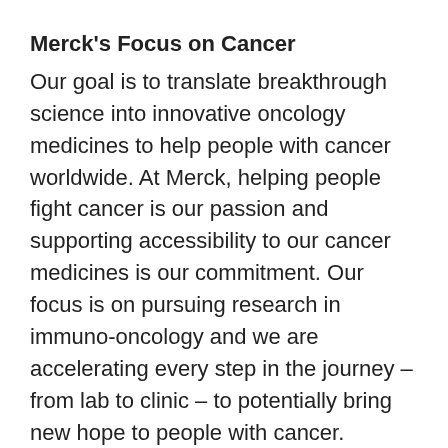Merck's Focus on Cancer
Our goal is to translate breakthrough science into innovative oncology medicines to help people with cancer worldwide. At Merck, helping people fight cancer is our passion and supporting accessibility to our cancer medicines is our commitment. Our focus is on pursuing research in immuno-oncology and we are accelerating every step in the journey – from lab to clinic – to potentially bring new hope to people with cancer.
As part of our focus on cancer, Merck is committed to exploring the potential of immuno-oncology with one of the fastest-growing development programs in the industry. We are currently executing an expansive research program evaluating our anti-PD-1 therapy across more than 30 tumor types. We also continue to strengthen our immuno-oncology portfolio through strategic acquisitions and are